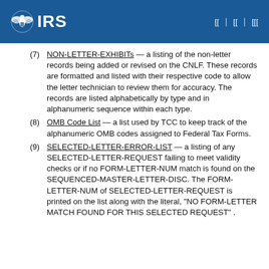IRS
(7) NON-LETTER-EXHIBITs — a listing of the non-letter records being added or revised on the CNLF. These records are formatted and listed with their respective code to allow the letter technician to review them for accuracy. The records are listed alphabetically by type and in alphanumeric sequence within each type.
(8) OMB Code List — a list used by TCC to keep track of the alphanumeric OMB codes assigned to Federal Tax Forms.
(9) SELECTED-LETTER-ERROR-LIST — a listing of any SELECTED-LETTER-REQUEST failing to meet validity checks or if no FORM-LETTER-NUM match is found on the SEQUENCED-MASTER-LETTER-DISC. The FORM-LETTER-NUM of SELECTED-LETTER-REQUEST is printed on the list along with the literal, "NO FORM-LETTER MATCH FOUND FOR THIS SELECTED REQUEST" .